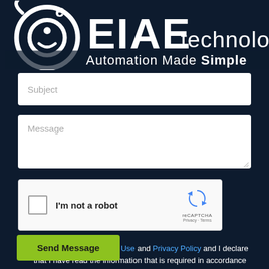[Figure (logo): EIAE technology logo with circular icon and text 'Automation Made Simple' on dark navy background]
Subject
Message
[Figure (other): reCAPTCHA widget with checkbox labeled 'I'm not a robot', reCAPTCHA logo, Privacy and Terms links]
I agree with the Terms of Use and Privacy Policy and I declare that I have read the information that is required in accordance with Article 13 of GDPR.
Send Message